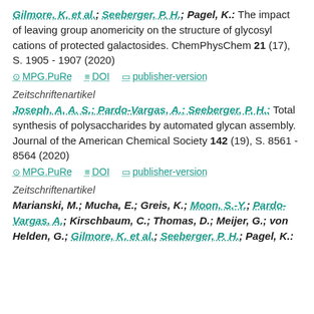Gilmore, K. et al.; Seeberger, P. H.; Pagel, K.: The impact of leaving group anomericity on the structure of glycosyl cations of protected galactosides. ChemPhysChem 21 (17), S. 1905 - 1907 (2020)
MPG.PuRe   DOI   publisher-version
Zeitschriftenartikel
Joseph, A. A. S.; Pardo-Vargas, A.; Seeberger, P. H.: Total synthesis of polysaccharides by automated glycan assembly. Journal of the American Chemical Society 142 (19), S. 8561 - 8564 (2020)
MPG.PuRe   DOI   publisher-version
Zeitschriftenartikel
Marianski, M.; Mucha, E.; Greis, K.; Moon, S.-Y.; Pardo-Vargas, A.; Kirschbaum, C.; Thomas, D.; Meijer, G.; von Helden, G.; Gilmore, K. et al.; Seeberger, P. H.; Pagel, K.: